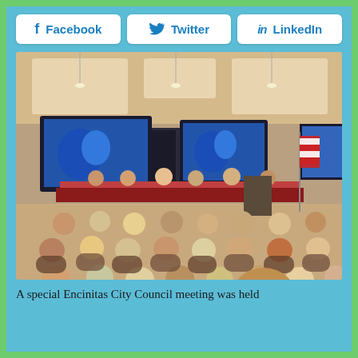[Figure (other): Social media share buttons: Facebook, Twitter, LinkedIn]
[Figure (photo): A city council meeting room with council members seated at a long table at the front, and a large audience seated in chairs facing them. Two large blue screens are visible in the background. An American flag is near the podium.]
A special Encinitas City Council meeting was held